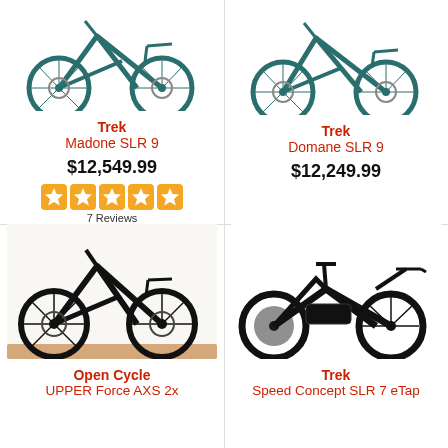[Figure (photo): Trek Madone SLR 9 road bike in teal/dark color, top portion visible]
Trek
Madone SLR 9
$12,549.99
[Figure (other): 5 orange star rating icons]
7 Reviews
[Figure (photo): Trek Domane SLR 9 road bike in teal/dark color, top portion visible]
Trek
Domane SLR 9
$12,249.99
[Figure (photo): Open Cycle UPPER Force AXS 2x gravel bike in black, full side view on wooden floor]
Open Cycle
UPPER Force AXS 2x
[Figure (photo): Trek Speed Concept SLR 7 eTap triathlon/TT bike in black, full side view]
Trek
Speed Concept SLR 7 eTap